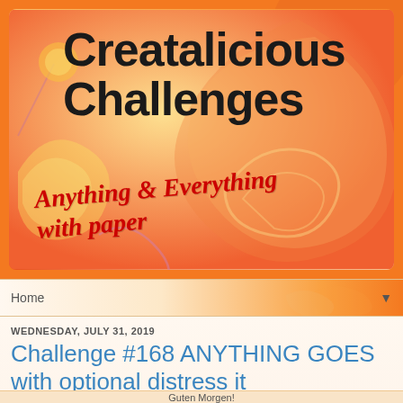[Figure (illustration): Creatalicious Challenges blog banner with orange swirl background, displaying bold text 'Creatalicious Challenges' and italic red text 'Anything & Everything with paper']
Home ▼
WEDNESDAY, JULY 31, 2019
Challenge #168 ANYTHING GOES with optional distress it
Guten Morgen!